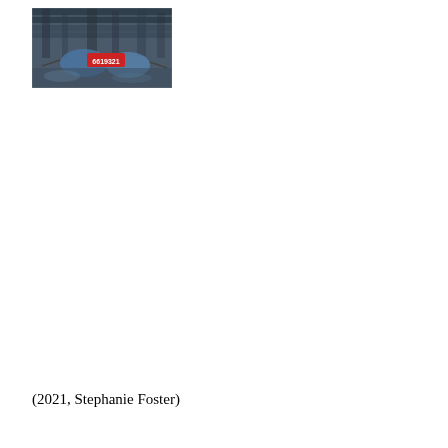[Figure (photo): A blurry photograph showing what appears to be glasses or eyewear with a red price tag reading '6619321' or similar numbers, against a dark reflective background.]
(2021, Stephanie Foster)